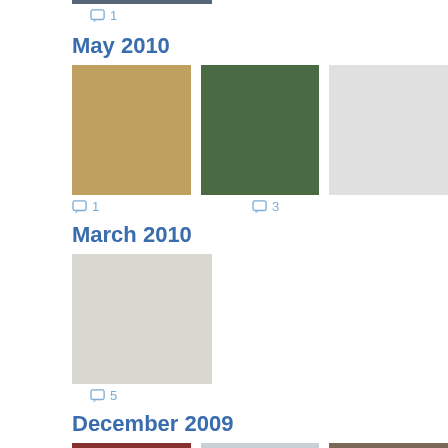[Figure (photo): Partial photo at top of page, cropped]
1 (comment count)
May 2010
[Figure (photo): Pug dog sitting]
[Figure (photo): Baby in stroller]
[Figure (photo): Gray placeholder image]
1 (comment count)
3 (comment count)
March 2010
[Figure (photo): Light gray placeholder photo]
5 (comment count)
December 2009
[Figure (photo): Family Christmas photo with red shirts]
[Figure (photo): Child in snow with pug]
[Figure (photo): Baby with pug in pajamas]
4 (comment count)
3 (comment count)